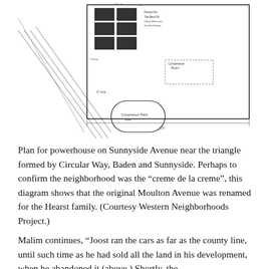[Figure (schematic): Engineering/survey plan diagram showing a powerhouse layout on Sunnyside Avenue near the triangle formed by Circular Way, Baden and Sunnyside. The diagram includes building outlines, labels, and 'SUNNYSIDE AV.' written vertically on the right side. A rounded rectangular shape (possibly a pool or oval structure) is visible at the bottom of the plan.]
Plan for powerhouse on Sunnyside Avenue near the triangle formed by Circular Way, Baden and Sunnyside. Perhaps to confirm the neighborhood was the “creme de la creme”, this diagram shows that the original Moulton Avenue was renamed for the Hearst family. (Courtesy Western Neighborhoods Project.)
Malim continues, “Joost ran the cars as far as the county line, until such time as he had sold all the land in his development, when he abandoned it (above.) Shortly, the